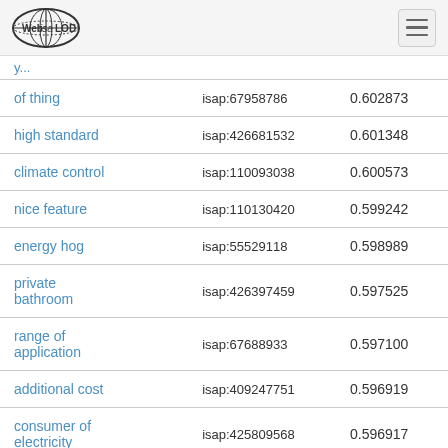Web isa LOD
| term | isap | score |
| --- | --- | --- |
| of thing | isap:67958786 | 0.602873 |
| high standard | isap:426681532 | 0.601348 |
| climate control | isap:110093038 | 0.600573 |
| nice feature | isap:110130420 | 0.599242 |
| energy hog | isap:55529118 | 0.598989 |
| private bathroom | isap:426397459 | 0.597525 |
| range of application | isap:67688933 | 0.597100 |
| additional cost | isap:409247751 | 0.596919 |
| consumer of electricity | isap:425809568 | 0.596917 |